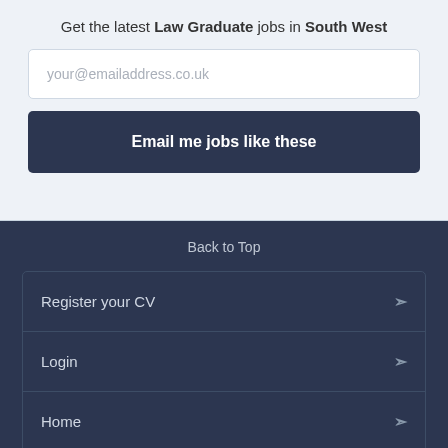Get the latest Law Graduate jobs in South West
your@emailaddress.co.uk
Email me jobs like these
Back to Top
Register your CV
Login
Home
Search Jobs